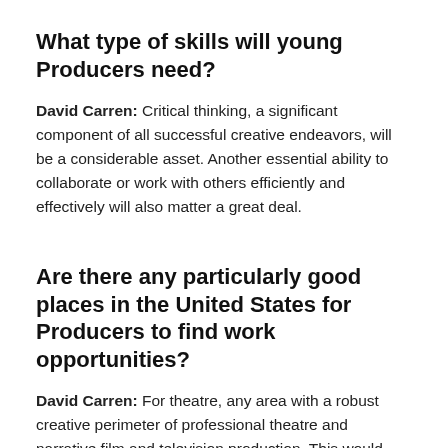What type of skills will young Producers need?
David Carren: Critical thinking, a significant component of all successful creative endeavors, will be a considerable asset. Another essential ability to collaborate or work with others efficiently and effectively will also matter a great deal.
Are there any particularly good places in the United States for Producers to find work opportunities?
David Carren: For theatre, any area with a robust creative perimeter of professional theatre and narrative film and television production. This would